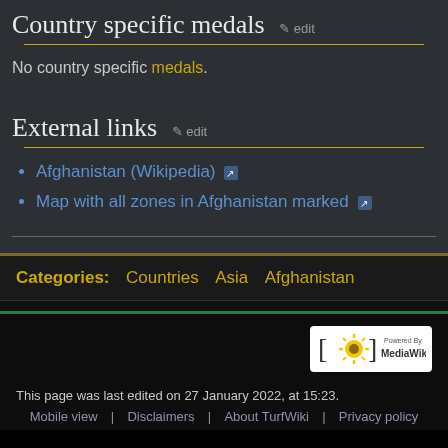Country specific medals  edit
No country specific medals.
External links  edit
Afghanistan (Wikipedia)
Map with all zones in Afghanistan marked
Categories:  Countries  Asia  Afghanistan
[Figure (logo): Powered by MediaWiki logo]
This page was last edited on 27 January 2022, at 15:23.
Mobile view   Disclaimers   About TurfWiki   Privacy policy